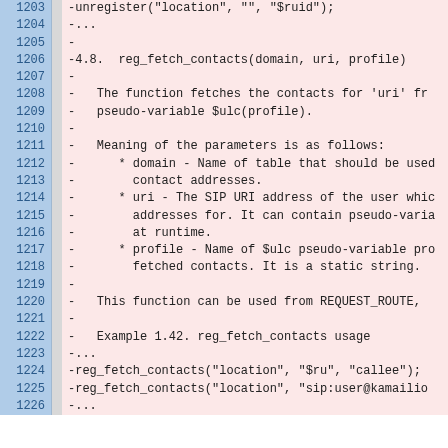Code listing lines 1203-1226 showing reg_fetch_contacts documentation and usage examples in a diff/code format